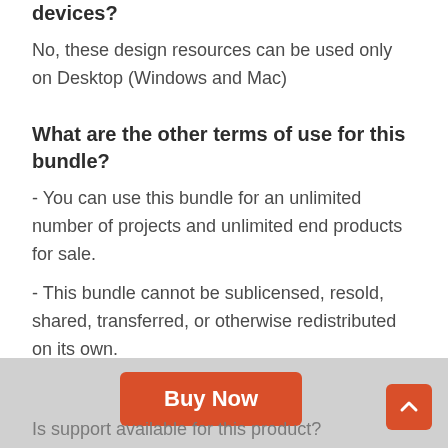devices?
No, these design resources can be used only on Desktop (Windows and Mac)
What are the other terms of use for this bundle?
- You can use this bundle for an unlimited number of projects and unlimited end products for sale.
- This bundle cannot be sublicensed, resold, shared, transferred, or otherwise redistributed on its own.
Is support available for this product?